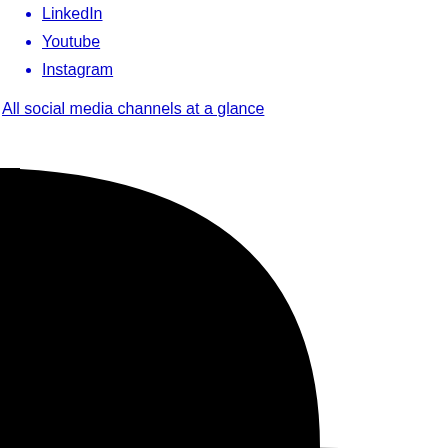LinkedIn
Youtube
Instagram
All social media channels at a glance
[Figure (illustration): Large curved black shape in the bottom-left corner of the page, creating a decorative arc/quarter-circle design element sweeping from the lower-left into the page center area, on a white background.]